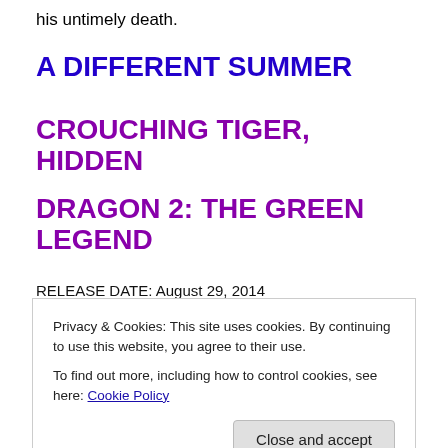his untimely death.
A DIFFERENT SUMMER
CROUCHING TIGER, HIDDEN DRAGON 2: THE GREEN LEGEND
RELEASE DATE: August 29, 2014
STUDIO: Weinstein
sword in ancient China.
Privacy & Cookies: This site uses cookies. By continuing to use this website, you agree to their use.
To find out more, including how to control cookies, see here: Cookie Policy